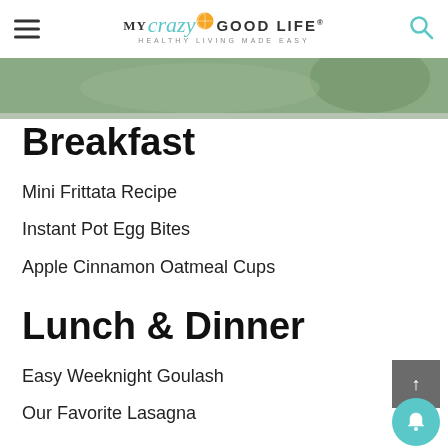MY crazy GOOD LIFE · HEALTHY LIVING MADE EASY
[Figure (photo): Banner image with text: by Becca Ludlum from My Crazy Good Life]
Breakfast
Mini Frittata Recipe
Instant Pot Egg Bites
Apple Cinnamon Oatmeal Cups
Lunch & Dinner
Easy Weeknight Goulash
Our Favorite Lasagna